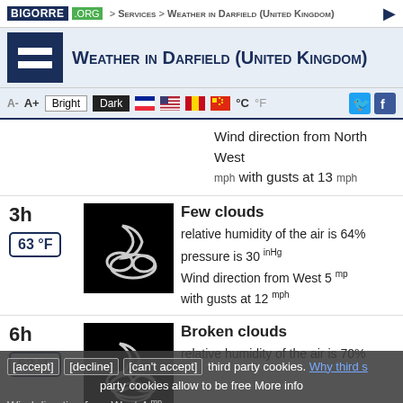BIGORRE .ORG > Services > Weather in Darfield (United Kingdom)
Weather in Darfield (United Kingdom)
Toolbar: A- A+ Bright Dark °C °F
Wind direction from North West mph with gusts at 13 mph
3h | 63 °F | Few clouds | relative humidity of the air is 64% | pressure is 30 inHg | Wind direction from West 5 mph with gusts at 12 mph
6h | 62 °F | Broken clouds | relative humidity of the air is 70% | Wind direction from West 4 mph
[accept] [decline] [can't accept] third party cookies. Why third party cookies allow to be free More info